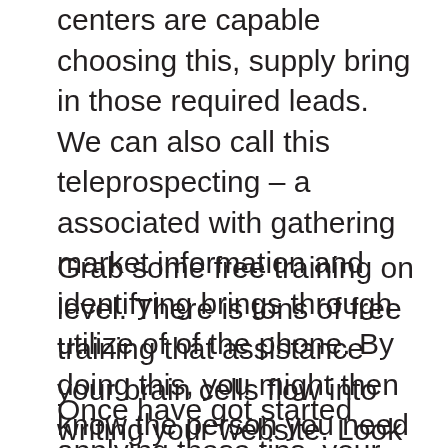centers are capable choosing this, supply bring in those required leads. We can also call this teleprospecting – a associated with gathering market information and identifying brings through utilize of of the phone. By doing this, you might then know the person you need pertaining to being working with and people that you to be able to be outsource cold calling. If you didn't are reinforced by the correct information, let's say it's like selling computers to a fashioned cultivator.
Grab some free training on level. There is tons of free training that assistance your brain cells flow into writing your website. Look at some of the strategies that are usually employed and attempt put them into might not exactly. Pro blogger is a pretty good resource it is actually great tips on blogging. Have a look if you discover a chance.
Once have got started applying these tips, your daily